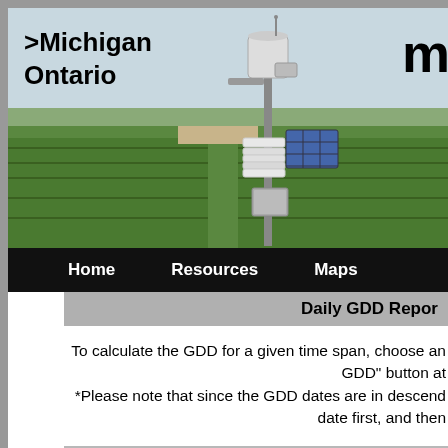[Figure (photo): Weather station in an agricultural field with crops visible in the background. Station has solar panel, sensors, and data collection equipment on a pole.]
>Michigan
Ontario
m
Home    Resources    Maps
Daily GDD Repor...
To calculate the GDD for a given time span, choose an... GDD" button at...
*Please note that since the GDD dates are in descend... date first, and then...
| Date | Daily
GDD | Accumu...
GDD |
| --- | --- | --- |